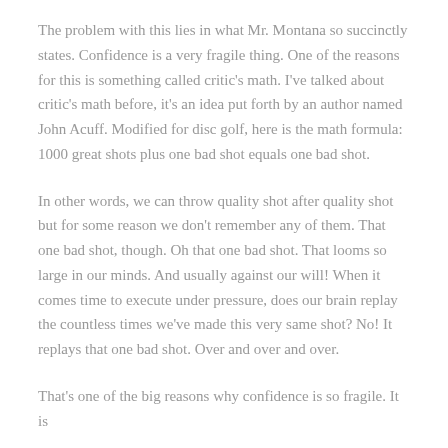The problem with this lies in what Mr. Montana so succinctly states. Confidence is a very fragile thing. One of the reasons for this is something called critic's math. I've talked about critic's math before, it's an idea put forth by an author named John Acuff. Modified for disc golf, here is the math formula: 1000 great shots plus one bad shot equals one bad shot.
In other words, we can throw quality shot after quality shot but for some reason we don't remember any of them. That one bad shot, though. Oh that one bad shot. That looms so large in our minds. And usually against our will! When it comes time to execute under pressure, does our brain replay the countless times we've made this very same shot? No! It replays that one bad shot. Over and over and over.
That's one of the big reasons why confidence is so fragile. It is